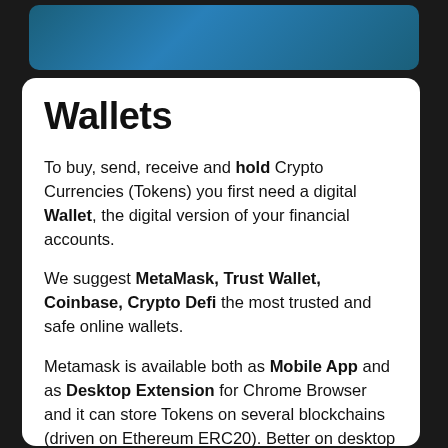[Figure (illustration): Teal/blue rounded banner image at top of page]
Wallets
To buy, send, receive and hold Crypto Currencies (Tokens) you first need a digital Wallet, the digital version of your financial accounts.
We suggest MetaMask, Trust Wallet, Coinbase, Crypto Defi the most trusted and safe online wallets.
Metamask is available both as Mobile App and as Desktop Extension for Chrome Browser and it can store Tokens on several blockchains (driven on Ethereum ERC20). Better on desktop version do not allow purchases of BSC tokens on some Payment Gateways.
Trust Wallet is available as Mobile App only, quick and with many functions it recognize and stores